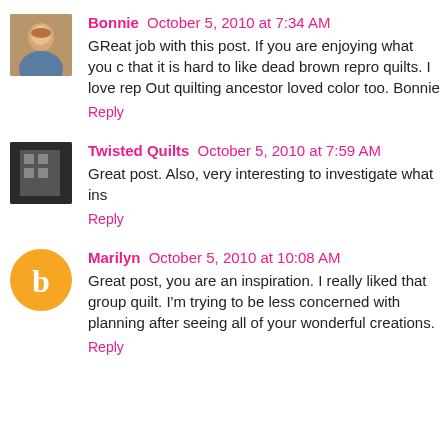Bonnie  October 5, 2010 at 7:34 AM
GReat job with this post. If you are enjoying what you c... that it is hard to like dead brown repro quilts. I love rep... Out quilting ancestor loved color too. Bonnie
Reply
Twisted Quilts  October 5, 2010 at 7:59 AM
Great post. Also, very interesting to investigate what ins...
Reply
Marilyn  October 5, 2010 at 10:08 AM
Great post, you are an inspiration. I really liked that group quilt. I'm trying to be less concerned with planning after seeing all of your wonderful creations.
Reply